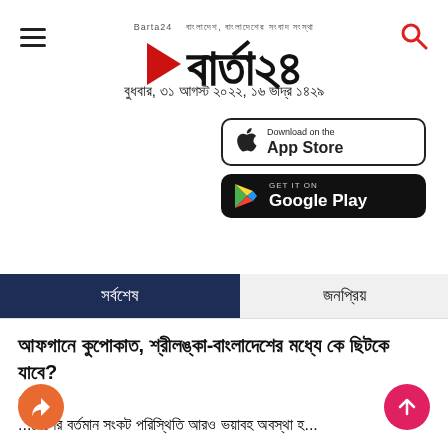Barta24 — বুধবার, ৩১ আগস্ট ২০২২, ১৬ ভাদ্র ১৪২৯
[Figure (screenshot): App Store download button for Apple iOS]
[Figure (screenshot): Google Play download button for Android]
সর্বশেষ
জনপ্রিয়
আফগানে কুপোকাত, শ্রীলঙ্কা-বাংলাদেশের মধ্যে কে ছিটকে যাবে?
খেলা
...দেশের বর্তমান সংকট পরিস্থিতি আরও ভয়াবহ অবস্থা হ...